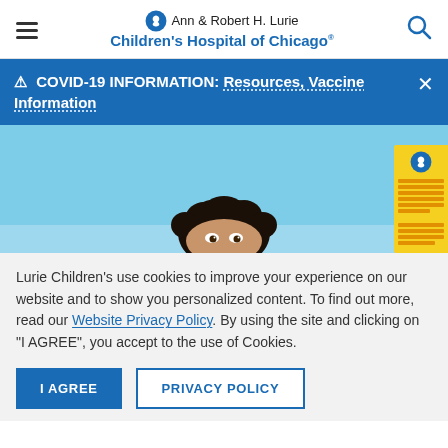Ann & Robert H. Lurie Children's Hospital of Chicago
⚠ COVID-19 INFORMATION: Resources, Vaccine Information
[Figure (photo): Child peeking up from bottom of frame against a light blue background, with a yellow hospital sign visible on the right side]
Lurie Children's use cookies to improve your experience on our website and to show you personalized content. To find out more, read our Website Privacy Policy. By using the site and clicking on "I AGREE", you accept to the use of Cookies.
I AGREE   PRIVACY POLICY